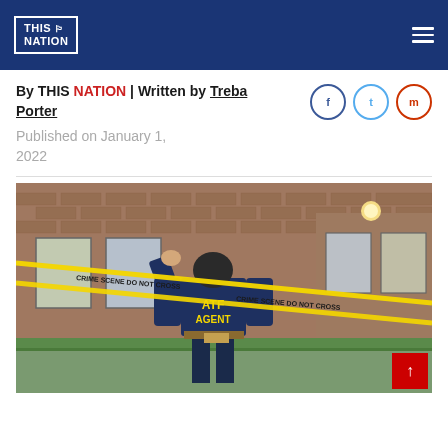THIS NATION
By THIS NATION | Written by Treba Porter
Published on January 1, 2022
[Figure (photo): An ATF Agent wearing a dark blue shirt labeled 'ATF AGENT' in yellow letters lifts yellow crime scene tape at what appears to be a residential apartment complex. The scene is photographed from behind the agent.]